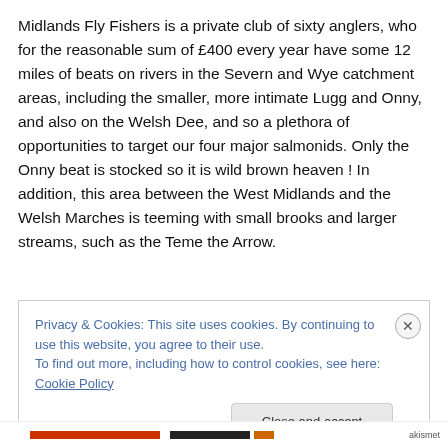Midlands Fly Fishers is a private club of sixty anglers, who for the reasonable sum of £400 every year have some 12 miles of beats on rivers in the Severn and Wye catchment areas, including the smaller, more intimate Lugg and Onny, and also on the Welsh Dee, and so a plethora of opportunities to target our four major salmonids. Only the Onny beat is stocked so it is wild brown heaven ! In addition, this area between the West Midlands and the Welsh Marches is teeming with small brooks and larger streams, such as the Teme the Arrow.
Privacy & Cookies: This site uses cookies. By continuing to use this website, you agree to their use.
To find out more, including how to control cookies, see here: Cookie Policy
Close and accept